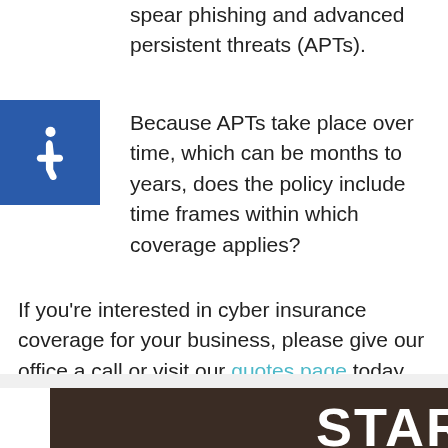spear phishing and advanced persistent threats (APTs).
Because APTs take place over time, which can be months to years, does the policy include time frames within which coverage applies?
[Figure (logo): Blue square accessibility icon with wheelchair symbol in white]
If you’re interested in cyber insurance coverage for your business, please give our office a call or visit our quotes page today.
[Figure (photo): Dark brown banner image with large white bold text reading START YOUR QUOTE HERE and subtitle We make the process super simple! When you’re ready]